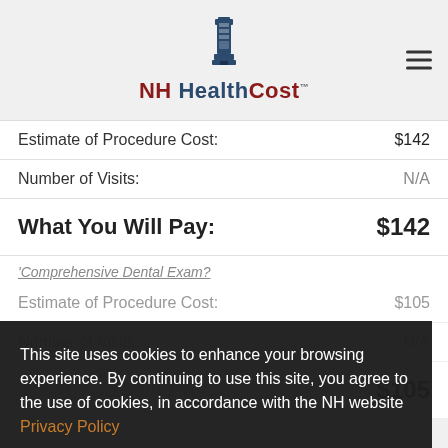NH HealthCost
|  |  |
| --- | --- |
| Estimate of Procedure Cost: | $142 |
| Number of Visits: | N/A |
| What You Will Pay: | $142 |
Comprehensive Dental Exam?
|  |  |
| --- | --- |
| Estimate of Procedure Cost: | $105 |
| Number of Visits: | N/A |
| What You Will Pay: | $105 |
This site uses cookies to enhance your browsing experience. By continuing to use this site, you agree to the use of cookies, in accordance with the NH website Privacy Policy
OK ✓